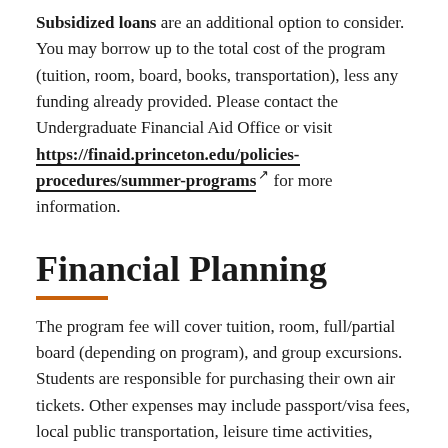Subsidized loans are an additional option to consider. You may borrow up to the total cost of the program (tuition, room, board, books, transportation), less any funding already provided. Please contact the Undergraduate Financial Aid Office or visit https://finaid.princeton.edu/policies-procedures/summer-programs for more information.
Financial Planning
The program fee will cover tuition, room, full/partial board (depending on program), and group excursions. Students are responsible for purchasing their own air tickets. Other expenses may include passport/visa fees, local public transportation, leisure time activities, laundry, toiletries and other incidentals. Additional information about these expenses will be provided.